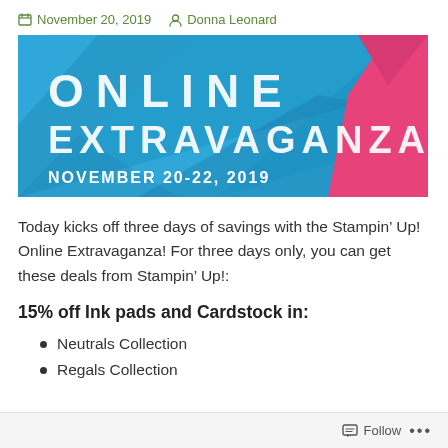November 20, 2019   Donna Leonard
[Figure (illustration): Online Extravaganza banner with blue geometric background and pink accent shape. White text reads ONLINE EXTRAVAGANZA and NOVEMBER 20-22, 2019.]
Today kicks off three days of savings with the Stampin’ Up! Online Extravaganza! For three days only, you can get these deals from Stampin’ Up!:
15% off Ink pads and Cardstock in:
Neutrals Collection
Regals Collection
Follow